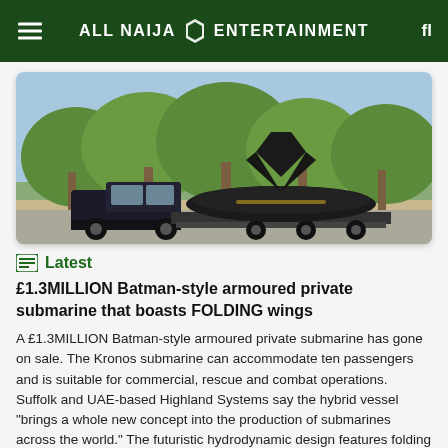ALL NAIJA ENTERTAINMENT
[Figure (photo): A Batman-style black submarine with folding wings being transported on a flatbed truck, towed by a black pickup truck, with green trees in the background.]
Latest
£1.3MILLION Batman-style armoured private submarine that boasts FOLDING wings
A £1.3MILLION Batman-style armoured private submarine has gone on sale. The Kronos submarine can accommodate ten passengers and is suitable for commercial, rescue and combat operations. Suffolk and UAE-based Highland Systems say the hybrid vessel "brings a whole new concept into the production of submarines across the world." The futuristic hydrodynamic design features folding wings for transportation. [...]